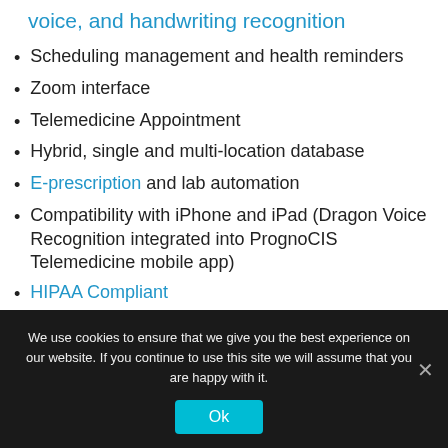voice, and handwriting recognition
Scheduling management and health reminders
Zoom interface
Telemedicine Appointment
Hybrid, single and multi-location database
E-prescription and lab automation
Compatibility with iPhone and iPad (Dragon Voice Recognition integrated into PrognoCIS Telemedicine mobile app)
HIPAA Compliant
CCHIT Certified
HL-7 interfacing
We use cookies to ensure that we give you the best experience on our website. If you continue to use this site we will assume that you are happy with it.